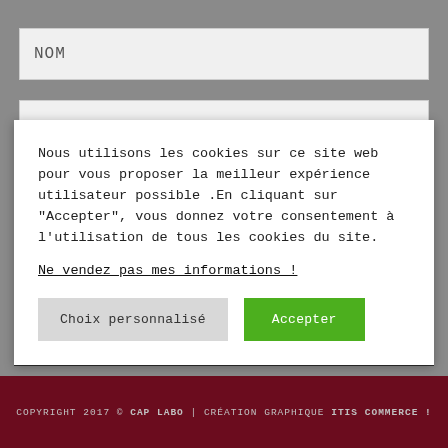NOM
Nous utilisons les cookies sur ce site web pour vous proposer la meilleur expérience utilisateur possible .En cliquant sur "Accepter", vous donnez votre consentement à l'utilisation de tous les cookies du site.
Ne vendez pas mes informations !
Choix personnalisé
Accepter
TÉLÉCHARGER
COPYRIGHT 2017 © CAP LABO | CRÉATION GRAPHIQUE ITIS COMMERCE !